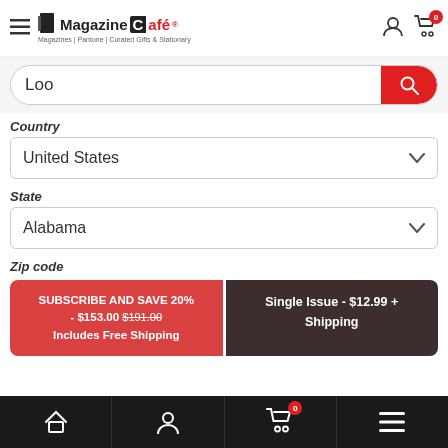[Figure (screenshot): Magazine Café logo with hamburger menu and cart/user icons in header]
[Figure (screenshot): Search bar with text 'Loo' and red search button]
Country
[Figure (screenshot): Country dropdown showing 'United States']
State
[Figure (screenshot): State dropdown showing 'Alabama']
Zip code
SUBSCRIBE AND SAVE 20% - $153.00 $191.00 Includes Free Shipping
Single Issue - $12.99 + Shipping
Home | Account | Cart (0) | Menu